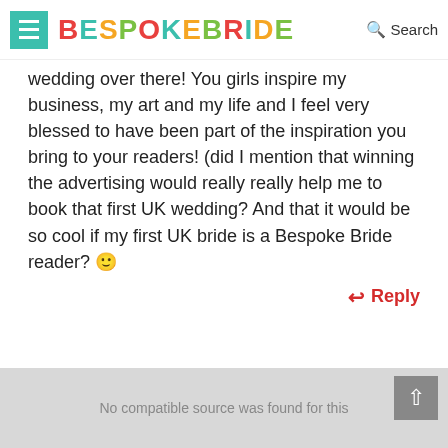BESPOKE BRIDE | Search
wedding over there! You girls inspire my business, my art and my life and I feel very blessed to have been part of the inspiration you bring to your readers! (did I mention that winning the advertising would really really help me to book that first UK wedding? And that it would be so cool if my first UK bride is a Bespoke Bride reader? 🙂
Reply
No compatible source was found for this